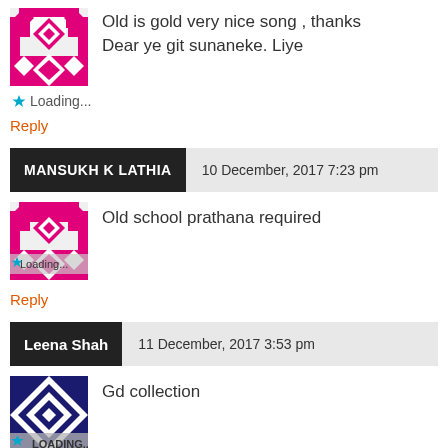Old is gold very nice song , thanks Dear ye git sunaneke. Liye
Loading...
Reply
MANSUKH K LATHIA   10 December, 2017 7:23 pm
Old school prathana required
Loading...
Reply
Leena Shah   11 December, 2017 3:53 pm
Gd collection
LOADING...